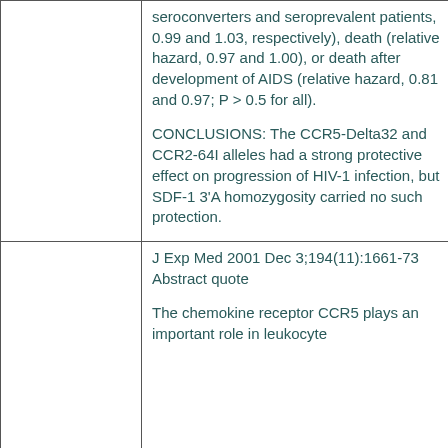|  | seroconverters and seroprevalent patients, 0.99 and 1.03, respectively), death (relative hazard, 0.97 and 1.00), or death after development of AIDS (relative hazard, 0.81 and 0.97; P > 0.5 for all).

CONCLUSIONS: The CCR5-Delta32 and CCR2-64I alleles had a strong protective effect on progression of HIV-1 infection, but SDF-1 3'A homozygosity carried no such protection. |
|  | J Exp Med 2001 Dec 3;194(11):1661-73 Abstract quote

The chemokine receptor CCR5 plays an important role in leukocyte |